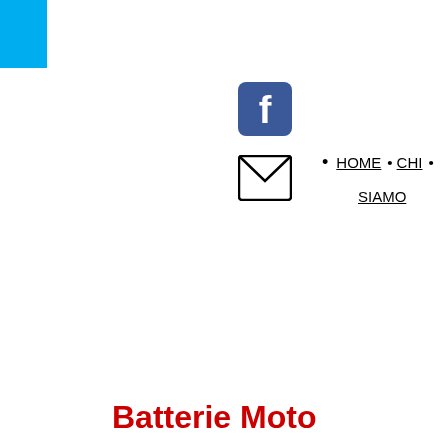[Figure (logo): Blue square in top-left corner, website logo element]
[Figure (logo): Facebook icon - rounded square with white 'f' on blue background]
[Figure (logo): Email/envelope icon - black outlined envelope]
HOME
CHI
SIAMO
Batterie Moto